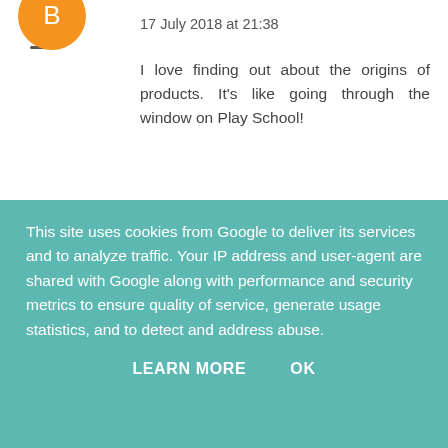17 July 2018 at 21:38
I love finding out about the origins of products. It's like going through the window on Play School!
Fab Food 4 All
14 July 2018 at 23:45
We've been having Picota cherries for dessert the last couple of nights, always a favourite here! What a delicious array of recipes here, thank you
This site uses cookies from Google to deliver its services and to analyze traffic. Your IP address and user-agent are shared with Google along with performance and security metrics to ensure quality of service, generate usage statistics, and to detect and address abuse.
LEARN MORE    OK